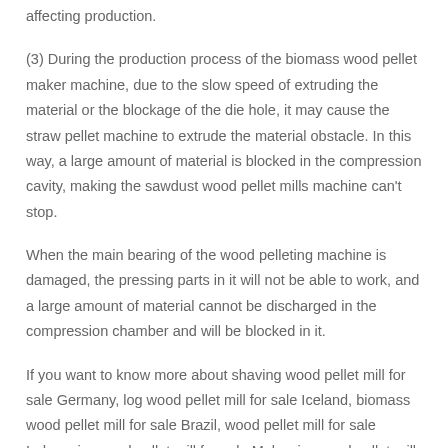affecting production.
(3) During the production process of the biomass wood pellet maker machine, due to the slow speed of extruding the material or the blockage of the die hole, it may cause the straw pellet machine to extrude the material obstacle. In this way, a large amount of material is blocked in the compression cavity, making the sawdust wood pellet mills machine can't stop.
When the main bearing of the wood pelleting machine is damaged, the pressing parts in it will not be able to work, and a large amount of material cannot be discharged in the compression chamber and will be blocked in it.
If you want to know more about shaving wood pellet mill for sale Germany, log wood pellet mill for sale Iceland, biomass wood pellet mill for sale Brazil, wood pellet mill for sale Indonesia, wood pellet mill for sale Malaysia, wood pellet mill for sale Thailand,